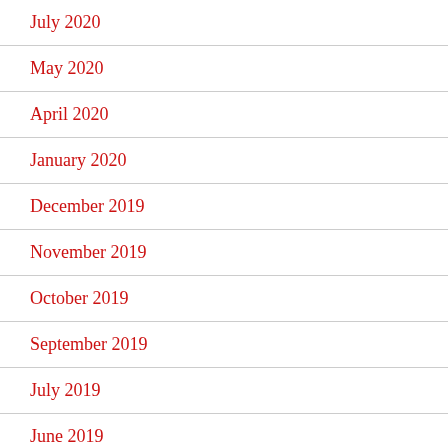July 2020
May 2020
April 2020
January 2020
December 2019
November 2019
October 2019
September 2019
July 2019
June 2019